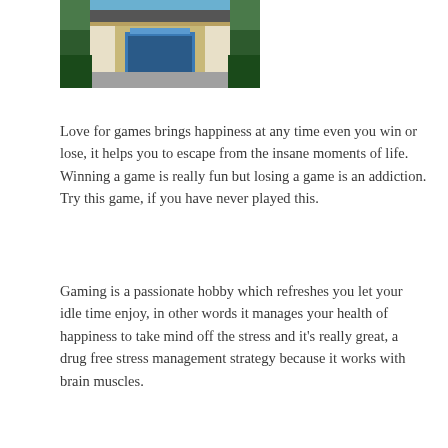[Figure (illustration): Pixel art style illustration of a building or game scene with green, blue, white and gray colors]
Love for games brings happiness at any time even you win or lose, it helps you to escape from the insane moments of life. Winning a game is really fun but losing a game is an addiction. Try this game, if you have never played this.
Gaming is a passionate hobby which refreshes you let your idle time enjoy, in other words it manages your health of happiness to take mind off the stress and it's really great, a drug free stress management strategy because it works with brain muscles.